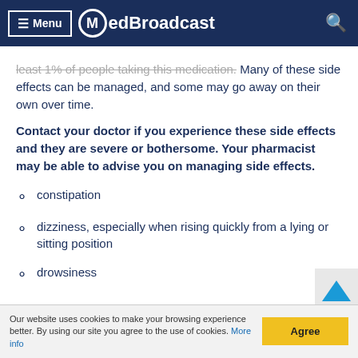Menu | MedBroadcast
least 1% of people taking this medication. Many of these side effects can be managed, and some may go away on their own over time.
Contact your doctor if you experience these side effects and they are severe or bothersome. Your pharmacist may be able to advise you on managing side effects.
constipation
dizziness, especially when rising quickly from a lying or sitting position
drowsiness
Our website uses cookies to make your browsing experience better. By using our site you agree to the use of cookies. More info | Agree